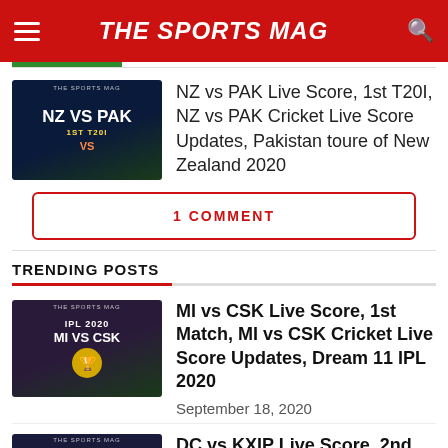THE SPORTS MAG
[Figure (screenshot): NZ vs PAK 1st T20I cricket match thumbnail with team flags and fire graphic]
NZ vs PAK Live Score, 1st T20I, NZ vs PAK Cricket Live Score Updates, Pakistan toure of New Zealand 2020
1 COMMENT
TRENDING POSTS
[Figure (screenshot): IPL 2020 MI vs CSK match thumbnail with player photos and IPL trophy]
MI vs CSK Live Score, 1st Match, MI vs CSK Cricket Live Score Updates, Dream 11 IPL 2020
September 18, 2020
[Figure (screenshot): DC vs KXIP match thumbnail]
DC vs KXIP Live Score, 2nd Match, DC vs